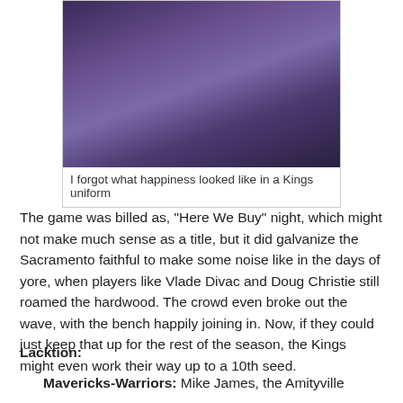[Figure (photo): Basketball players in purple Sacramento Kings uniforms celebrating on the bench, crowd visible in background]
I forgot what happiness looked like in a Kings uniform
The game was billed as, "Here We Buy" night, which might not make much sense as a title, but it did galvanize the Sacramento faithful to make some noise like in the days of yore, when players like Vlade Divac and Doug Christie still roamed the hardwood. The crowd even broke out the wave, with the bench happily joining in. Now, if they could just keep that up for the rest of the season, the Kings might even work their way up to a 10th seed.
Lacktion:
Mavericks-Warriors: Mike James, the Amityville